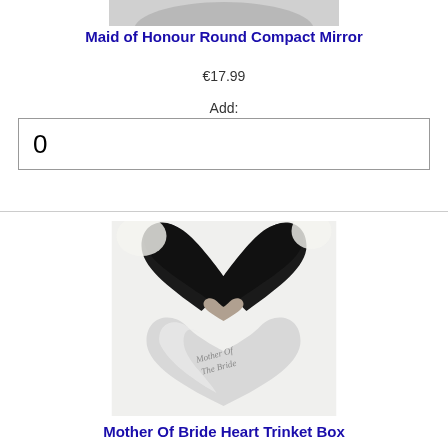[Figure (photo): Top portion of a round compact mirror product image, partially visible at the top of the page]
Maid of Honour Round Compact Mirror
€17.99
Add:
0
[Figure (photo): Silver heart-shaped trinket box open to reveal black velvet interior, engraved with 'Mother Of The Bride' and decorative hearts, placed on white fabric]
Mother Of Bride Heart Trinket Box